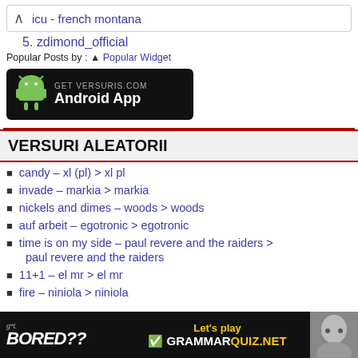icu - french montana
5. zdimond_official
Popular Posts by : ▲ Popular Widget
[Figure (screenshot): Android App banner for GET VERSURIS.COM Android App]
VERSURI ALEATORII
candy – xl (pl)  > xl pl
invade – markia  > markia
nickels and dimes – woods  > woods
auf arbeit – egotronic  > egotronic
time is on my side – paul revere and the raiders  > paul revere and the raiders
11+1 – el mr  > el mr
fire – niniola  > niniola
[Figure (screenshot): Bottom ad banner: BORED?? Let's play GRAMMARQUIZ.NET]